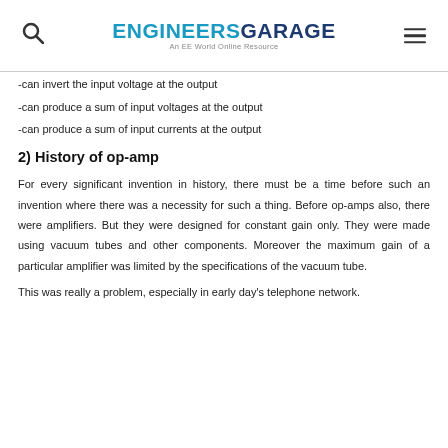ENGINEERS GARAGE — An EE World Online Resource
-can invert the input voltage at the output
-can produce a sum of input voltages at the output
-can produce a sum of input currents at the output
2) History of op-amp
For every significant invention in history, there must be a time before such an invention where there was a necessity for such a thing. Before op-amps also, there were amplifiers. But they were designed for constant gain only. They were made using vacuum tubes and other components. Moreover the maximum gain of a particular amplifier was limited by the specifications of the vacuum tube.
This was really a problem, especially in early day's telephone network.